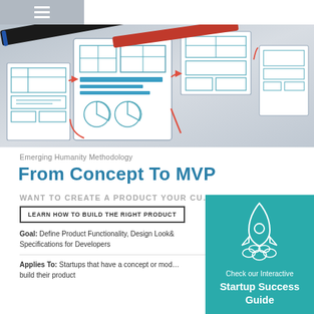[Figure (photo): Hero image of wireframe/UX sketches on paper with pens, featuring blue and red drawn mockup layouts]
Emerging Humanity Methodology
From Concept To MVP
WANT TO CREATE A PRODUCT YOUR CU…
LEARN HOW TO BUILD THE RIGHT PRODUCT
Goal: Define Product Functionality, Design Look… Specifications for Developers
Applies To: Startups that have a concept or mod… build their product
[Figure (infographic): Teal box with white rocket icon and text: Check our Interactive Startup Success Guide]